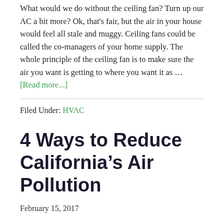What would we do without the ceiling fan? Turn up our AC a bit more? Ok, that's fair, but the air in your house would feel all stale and muggy. Ceiling fans could be called the co-managers of your home supply. The whole principle of the ceiling fan is to make sure the air you want is getting to where you want it as … [Read more...]
Filed Under: HVAC
4 Ways to Reduce California's Air Pollution
February 15, 2017
Earlier this month, we covered why air pollution is such a problem for California and which kinds of airborne pollution pose the biggest threats. We provided some suggestions as to how you can keep your home and family safe from air pollution, but this...